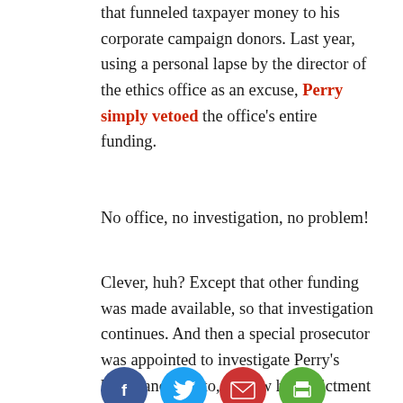that funneled taxpayer money to his corporate campaign donors. Last year, using a personal lapse by the director of the ethics office as an excuse, Perry simply vetoed the office's entire funding.
No office, no investigation, no problem!
Clever, huh? Except that other funding was made available, so that investigation continues. And then a special prosecutor was appointed to investigate Perry's ham-handed veto, so now his indictment looms. This could take the wheels off his road show.
[Figure (other): Print Friendly button (green) and social media share icons: Facebook (blue circle), Twitter (cyan circle), Email (red circle), Print (green circle)]